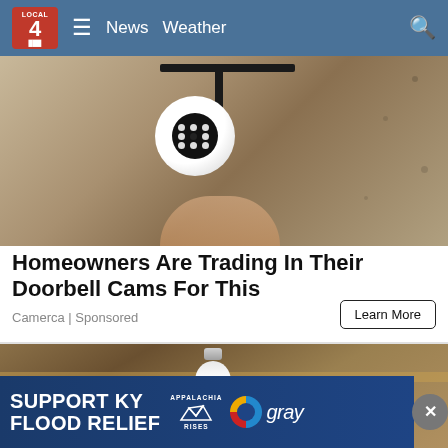LOCAL 4 News Weather
[Figure (photo): Security camera with circular LED ring mounted on a wall bracket against a textured stone/concrete wall]
Homeowners Are Trading In Their Doorbell Cams For This
Camerca | Sponsored
Learn More
[Figure (photo): Hand holding a white smart light bulb camera device against a wooden ceiling background]
[Figure (infographic): SUPPORT KY FLOOD RELIEF banner with Appalachia Rises and Gray TV logos]